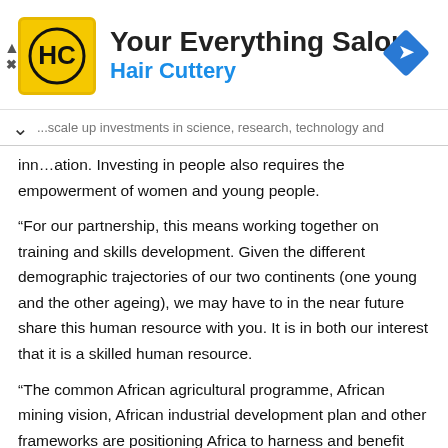[Figure (logo): Hair Cuttery advertisement banner with yellow HC logo, title 'Your Everything Salon', subtitle 'Hair Cuttery', and a blue navigation/directions diamond icon on the right.]
...scale up investments in science, research, technology and innovation. Investing in people also requires the empowerment of women and young people.
“For our partnership, this means working together on training and skills development. Given the different demographic trajectories of our two continents (one young and the other ageing), we may have to in the near future share this human resource with you. It is in both our interest that it is a skilled human resource.
“The common African agricultural programme, African mining vision, African industrial development plan and other frameworks are positioning Africa to harness and benefit from its vast natural resources, including land, water and forests; minerals and energy and its rich biodiversity and oceanic resources. Europe has great experience on all of these areas, and if we work smartly, coupled with African indigenous